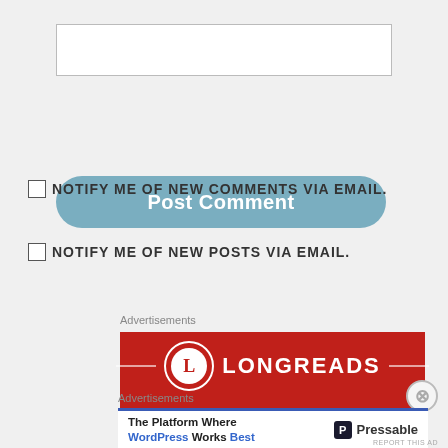[Figure (screenshot): Text input box (comment field), empty, white background with gray border]
[Figure (screenshot): Post Comment button, blue-gray rounded rectangle]
NOTIFY ME OF NEW COMMENTS VIA EMAIL.
NOTIFY ME OF NEW POSTS VIA EMAIL.
Advertisements
[Figure (logo): Longreads advertisement banner, red background with Longreads logo and text]
Advertisements
[Figure (screenshot): Pressable ad: The Platform Where WordPress Works Best, with Pressable logo]
REPORT THIS AD